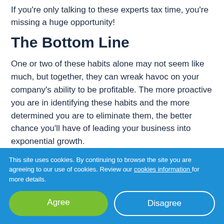If you're only talking to these experts tax time, you're missing a huge opportunity!
The Bottom Line
One or two of these habits alone may not seem like much, but together, they can wreak havoc on your company's ability to be profitable. The more proactive you are in identifying these habits and the more determined you are to eliminate them, the better chance you'll have of leading your business into exponential growth.
This site uses cookies. By continuing to browse the site you are agreeing to our use of cookies. Review our cookies information for more details.